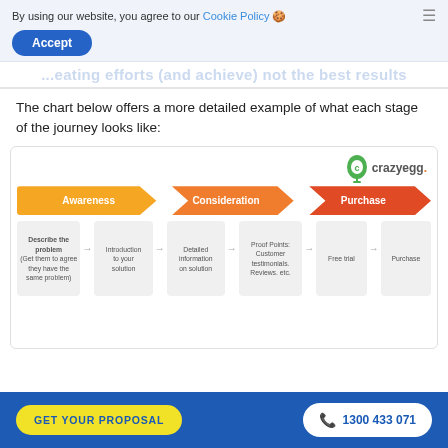By using our website, you agree to our Cookie Policy 🍪
Accept
...eating efforts (and achieve) not the best results
The chart below offers a more detailed example of what each stage of the journey looks like:
[Figure (flowchart): Customer journey flowchart showing three stages: Awareness, Consideration, Purchase as arrow banners. Below are sequential step boxes: Describe the problem (Get them to agree they have the same problem), Introduction to your solution, Detailed information on solution, Proof Points: Customer testimonials. Reviews. etc., Free trial, Purchase — connected by arrows.]
GET YOUR PROPOSAL
1300 433 071